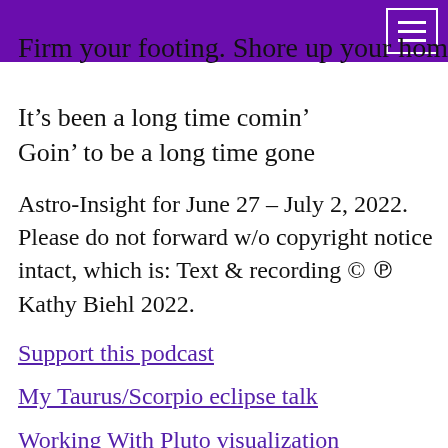Firm your footing. Shore up your home.
It’s been a long time comin’
Goin’ to be a long time gone
Astro-Insight for June 27 – July 2, 2022. Please do not forward w/o copyright notice intact, which is: Text & recording © ℗ Kathy Biehl 2022.
Support this podcast
My Taurus/Scorpio eclipse talk
Working With Pluto visualization